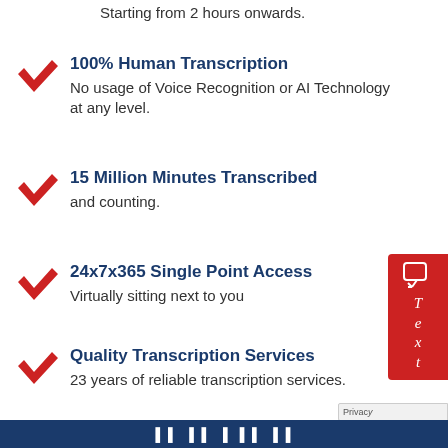Starting from 2 hours onwards.
100% Human Transcription
No usage of Voice Recognition or AI Technology at any level.
15 Million Minutes Transcribed
and counting.
24x7x365 Single Point Access
Virtually sitting next to you
Quality Transcription Services
23 years of reliable transcription services.